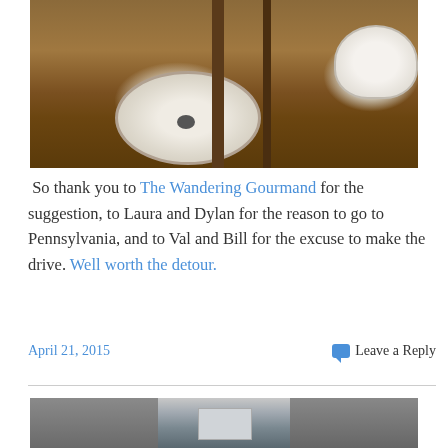[Figure (photo): Close-up photo of a rustic wooden bathroom countertop with a white undermount oval sink, a dark wooden mirror frame, and a white bowl partially visible on the right side.]
So thank you to The Wandering Gourmand for the suggestion, to Laura and Dylan for the reason to go to Pennsylvania, and to Val and Bill for the excuse to make the drive. Well worth the detour.
April 21, 2015    Leave a Reply
[Figure (photo): Partial photo visible at the bottom of the page showing what appears to be a kitchen or appliance area in grey tones.]